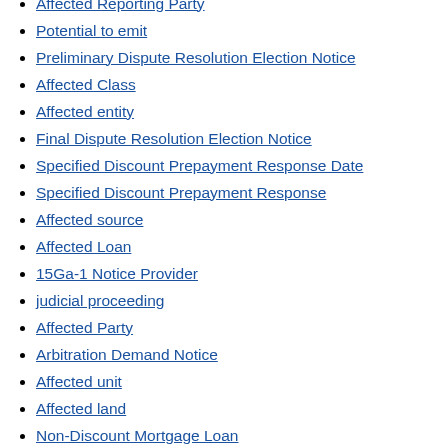Affected Reporting Party
Potential to emit
Preliminary Dispute Resolution Election Notice
Affected Class
Affected entity
Final Dispute Resolution Election Notice
Specified Discount Prepayment Response Date
Specified Discount Prepayment Response
Affected source
Affected Loan
15Ga-1 Notice Provider
judicial proceeding
Affected Party
Arbitration Demand Notice
Affected unit
Affected land
Non-Discount Mortgage Loan
Affected Bank
Non-impaired Wire Center
Affected Parties
Affected county
Arbitration decision
Affected State
Discount Range Prepayment Response Date
Affected Gain
Affected (cut off)